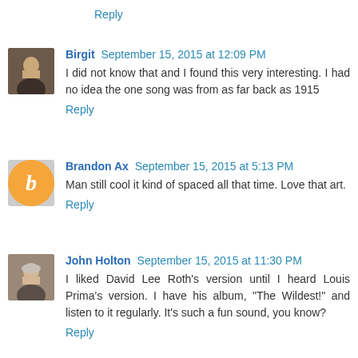Reply
Birgit September 15, 2015 at 12:09 PM
I did not know that and I found this very interesting. I had no idea the one song was from as far back as 1915
Reply
Brandon Ax September 15, 2015 at 5:13 PM
Man still cool it kind of spaced all that time. Love that art.
Reply
John Holton September 15, 2015 at 11:30 PM
I liked David Lee Roth's version until I heard Louis Prima's version. I have his album, "The Wildest!" and listen to it regularly. It's such a fun sound, you know?
Reply